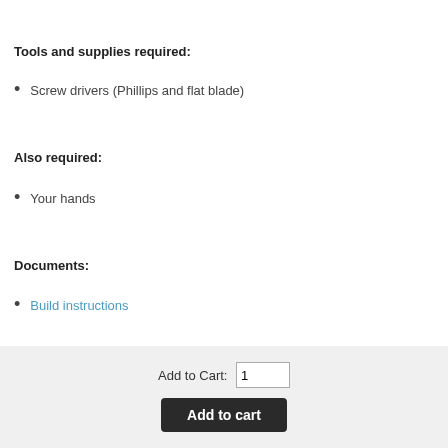Tools and supplies required:
Screw drivers (Phillips and flat blade)
Also required:
Your hands
Documents:
Build instructions
Add to Cart: 1
Add to cart